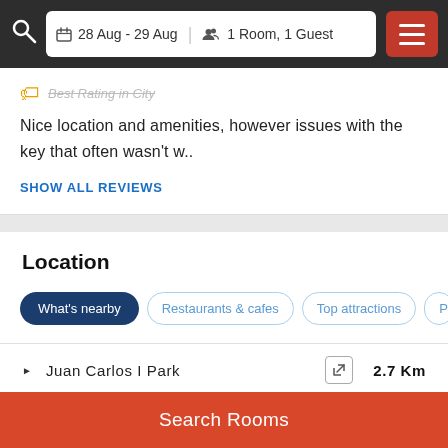28 Aug - 29 Aug  1 Room, 1 Guest
Best Rating in City
Nice location and amenities, however issues with the key that often wasn't w..
SHOW ALL REVIEWS
Location
What's nearby
Restaurants & cafes
Top attractions
Pu
Juan Carlos I Park  2.7 Km
Search Rooms